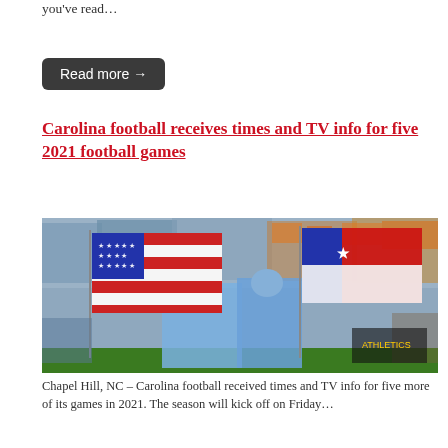you've read…
Read more →
Carolina football receives times and TV info for five 2021 football games
[Figure (photo): UNC Tar Heels football players carrying American flag and North Carolina state flag onto the field in front of a packed stadium crowd]
Chapel Hill, NC – Carolina football received times and TV info for five more of its games in 2021. The season will kick off on Friday…